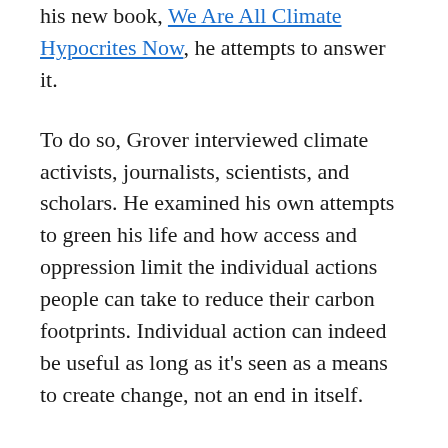his new book, We Are All Climate Hypocrites Now, he attempts to answer it.
To do so, Grover interviewed climate activists, journalists, scientists, and scholars. He examined his own attempts to green his life and how access and oppression limit the individual actions people can take to reduce their carbon footprints. Individual action can indeed be useful as long as it's seen as a means to create change, not an end in itself.
Earther chatted with Grover about his new book. This interview has been lightly edited and condensed for clarity.
G/O Media may get a commission